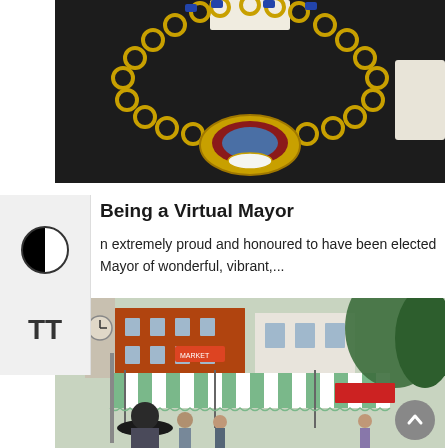[Figure (photo): Close-up photograph of a person wearing formal mayoral regalia — a large ornate gold chain of office with a decorated medallion/badge of office, worn over a black jacket/robe.]
Being a Virtual Mayor
n extremely proud and honoured to have been elected Mayor of wonderful, vibrant,...
[Figure (photo): Outdoor market scene with white and green striped market stall canopies in a town centre. Brick buildings and a clock tower visible in the background. People browsing the market.]